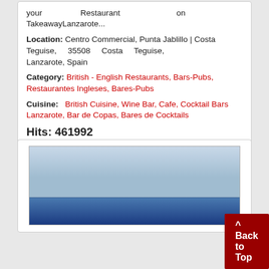your Restaurant on TakeawayLanzarote...
Location: Centro Commercial, Punta Jablillo | Costa Teguise, 35508 Costa Teguise, Lanzarote, Spain
Category: British - English Restaurants, Bars-Pubs, Restaurantes Ingleses, Bares-Pubs
Cuisine: British Cuisine, Wine Bar, Cafe, Cocktail Bars Lanzarote, Bar de Copas, Bares de Cocktails
Hits: 461992
Read more
[Figure (photo): Photograph of a coastal or ocean scene with blue sky and blue water/sea horizon]
^ Back to Top